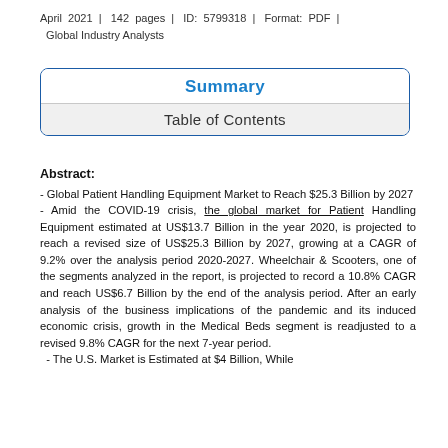April 2021 | 142 pages | ID: 5799318 | Format: PDF | Global Industry Analysts
Summary
Table of Contents
Abstract:
- Global Patient Handling Equipment Market to Reach $25.3 Billion by 2027
- Amid the COVID-19 crisis, the global market for Patient Handling Equipment estimated at US$13.7 Billion in the year 2020, is projected to reach a revised size of US$25.3 Billion by 2027, growing at a CAGR of 9.2% over the analysis period 2020-2027. Wheelchair & Scooters, one of the segments analyzed in the report, is projected to record a 10.8% CAGR and reach US$6.7 Billion by the end of the analysis period. After an early analysis of the business implications of the pandemic and its induced economic crisis, growth in the Medical Beds segment is readjusted to a revised 9.8% CAGR for the next 7-year period.
- The U.S. Market is Estimated at $4 Billion, While